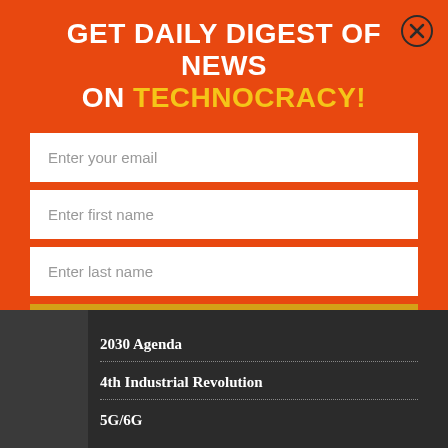GET DAILY DIGEST OF NEWS ON TECHNOCRACY!
Enter your email
Enter first name
Enter last name
SUBSCRIBE
2030 Agenda
4th Industrial Revolution
5G/6G